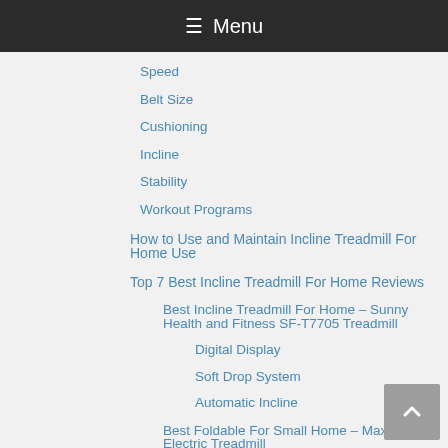Menu
Speed
Belt Size
Cushioning
Incline
Stability
Workout Programs
How to Use and Maintain Incline Treadmill For Home Use
Top 7 Best Incline Treadmill For Home Reviews
Best Incline Treadmill For Home – Sunny Health and Fitness SF-T7705 Treadmill
Digital Display
Soft Drop System
Automatic Incline
Best Foldable For Small Home – MaxKare Electric Treadmill
iPad Holder
Multi-Layer Running Belt